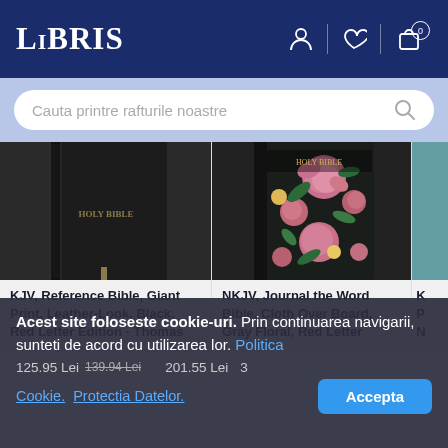LIBRIS - header navigation with logo, user icon, wishlist icon, cart icon (0)
Cauta printre rafturile noastre
[Figure (photo): Black leather-bound Holy Bible book cover - KJV Reference Bible Giant Print]
KJV, Reference Bible, Giant Print, Leather-Look, Black, Red Letter Edition - Thomas
[Figure (photo): Dark floral cloth-over-board Bible cover with pink roses - NKJV Journal the Word Bible]
NKJV, Journal the Word Bible, Cloth Over Board, Gray Floral, Red Letter
K P N
Acest site foloseste cookie-uri. Prin continuarea navigarii, sunteti de acord cu utilizarea lor. Politica Cookie. Protectia Datelor.
125.95 Lei  139.94 Lei   201.55 Lei   3
Accepta